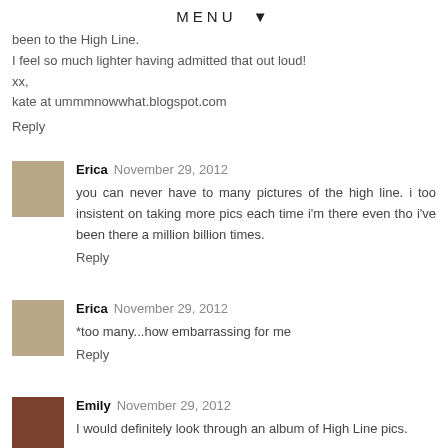MENU ▼
been to the High Line.
I feel so much lighter having admitted that out loud!
xx,
kate at ummmnowwhat.blogspot.com
Reply
Erica  November 29, 2012
you can never have to many pictures of the high line. i too insistent on taking more pics each time i'm there even tho i've been there a million billion times.
Reply
Erica  November 29, 2012
*too many...how embarrassing for me
Reply
Emily  November 29, 2012
I would definitely look through an album of High Line pics.